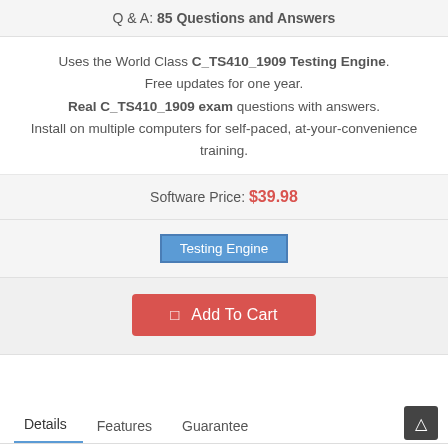Q & A: 85 Questions and Answers
Uses the World Class C_TS410_1909 Testing Engine. Free updates for one year. Real C_TS410_1909 exam questions with answers. Install on multiple computers for self-paced, at-your-convenience training.
Software Price: $39.98
Testing Engine
Add To Cart
Details   Features   Guarantee
SAP C_TS410_1909 Authorized Pdf In this era of surging